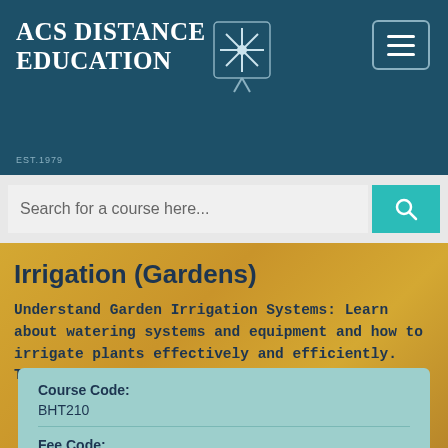[Figure (logo): ACS Distance Education logo with snowflake/pen icon on dark teal background]
[Figure (screenshot): Search bar with placeholder text and teal search button]
Irrigation (Gardens)
Understand Garden Irrigation Systems: Learn about watering systems and equipment and how to irrigate plants effectively and efficiently. Through distance or online education.
| Field | Value |
| --- | --- |
| Course Code: | BHT210 |
| Fee Code: | S2 |